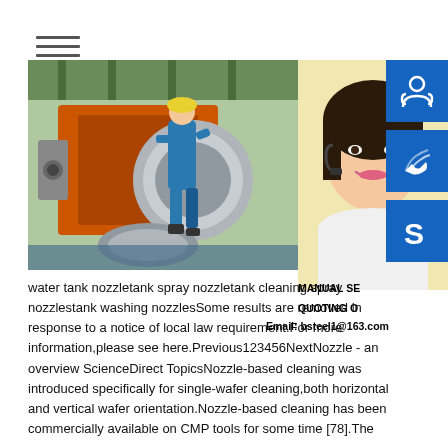[Figure (photo): Industrial factory scene with a worker in blue overalls operating large orange and silver machinery/rollers]
[Figure (photo): Young Asian woman with headset smiling, customer service representative. Three blue icon buttons overlay the right side: headphone/person icon, phone signal icon, and Skype-style S icon.]
MANUAL SE
QUOTING O
Email: bsteel1@163.com
water tank nozzletank spray nozzletank cleaning spray nozzlestank washing nozzlesSome results are removed in response to a notice of local law requirement.For more information,please see here.Previous123456NextNozzle - an overview ScienceDirect TopicsNozzle-based cleaning was introduced specifically for single-wafer cleaning,both horizontal and vertical wafer orientation.Nozzle-based cleaning has been commercially available on CMP tools for some time [78].The